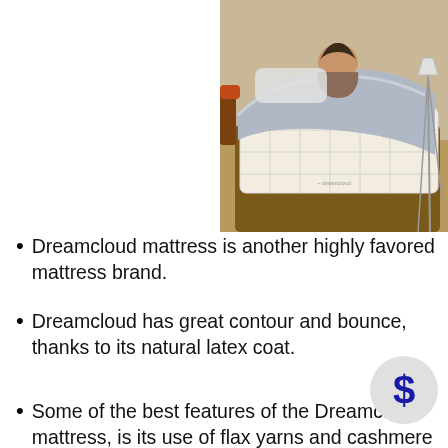[Figure (photo): Person lying on a Dreamcloud mattress in a bedroom setting with grey bedding, wooden bed frame, and warm ambient lighting.]
Dreamcloud mattress is another highly favored mattress brand.
Dreamcloud has great contour and bounce, thanks to its natural latex coat.
Some of the best features of the Dreamcloud mattress, is its use of flax yarns and cashmere blends; along with stitched handles across the sides.
Comes with a 365 night sleep trial, compared to 100 nights for most brands.
Pocket Coil Technology allows for